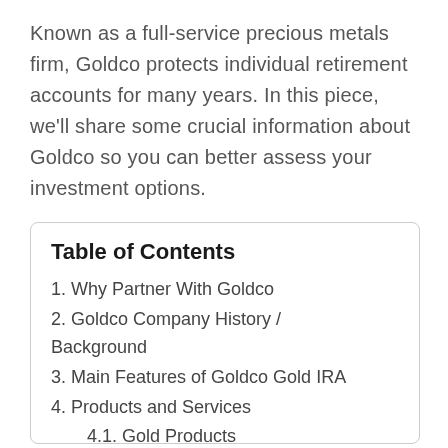Known as a full-service precious metals firm, Goldco protects individual retirement accounts for many years. In this piece, we'll share some crucial information about Goldco so you can better assess your investment options.
Table of Contents
1. Why Partner With Goldco
2. Goldco Company History / Background
3. Main Features of Goldco Gold IRA
4. Products and Services
4.1. Gold Products
4.2. Silver Products